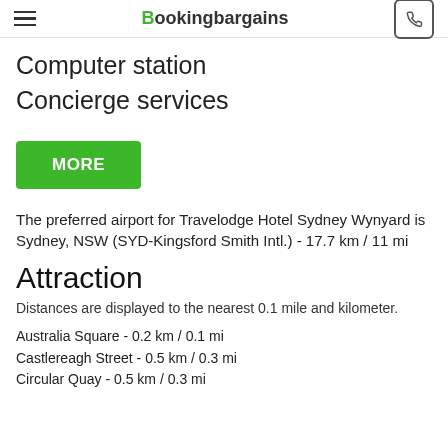Bookingbargains
Computer station
Concierge services
MORE
The preferred airport for Travelodge Hotel Sydney Wynyard is Sydney, NSW (SYD-Kingsford Smith Intl.) - 17.7 km / 11 mi
Attraction
Distances are displayed to the nearest 0.1 mile and kilometer.
Australia Square - 0.2 km / 0.1 mi
Castlereagh Street - 0.5 km / 0.3 mi
Circular Quay - 0.5 km / 0.3 mi